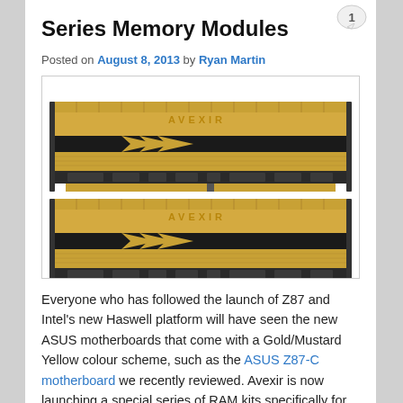Series Memory Modules
Posted on August 8, 2013 by Ryan Martin
[Figure (photo): Two gold/black Avexir DDR3 RAM memory modules with heatspreaders, stacked vertically on a white background.]
Everyone who has followed the launch of Z87 and Intel's new Haswell platform will have seen the new ASUS motherboards that come with a Gold/Mustard Yellow colour scheme, such as the ASUS Z87-C motherboard we recently reviewed. Avexir is now launching a special series of RAM kits specifically for users looking to match